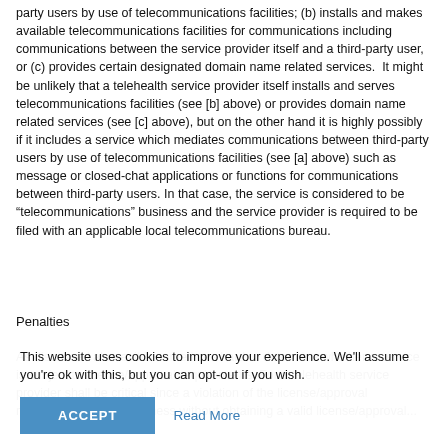party users by use of telecommunications facilities; (b) installs and makes available telecommunications facilities for communications including communications between the service provider itself and a third-party user, or (c) provides certain designated domain name related services.  It might be unlikely that a telehealth service provider itself installs and serves telecommunications facilities (see [b] above) or provides domain name related services (see [c] above), but on the other hand it is highly possibly if it includes a service which mediates communications between third-party users by use of telecommunications facilities (see [a] above) such as message or closed-chat applications or functions for communications between third-party users. In that case, the service is considered to be “telecommunications” business and the service provider is required to be filed with an applicable local telecommunications bureau.
Penalties
As discussed above, it is sometimes hard to determine whether a service is subject to license/approval requirements. For a telehealth service provider shall be critical since a violation of the license/approval requirements doing business without obtaining a valid license/approval...
This website uses cookies to improve your experience. We'll assume you're ok with this, but you can opt-out if you wish.